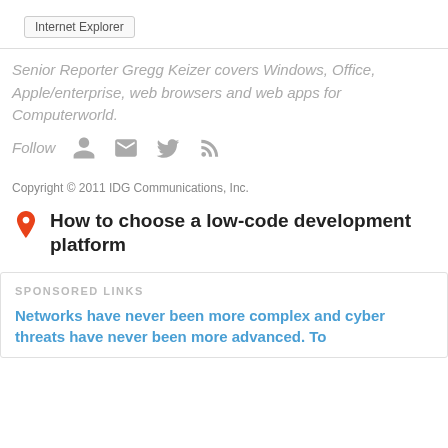Internet Explorer
Senior Reporter Gregg Keizer covers Windows, Office, Apple/enterprise, web browsers and web apps for Computerworld.
Follow
Copyright © 2011 IDG Communications, Inc.
How to choose a low-code development platform
SPONSORED LINKS
Networks have never been more complex and cyber threats have never been more advanced. To